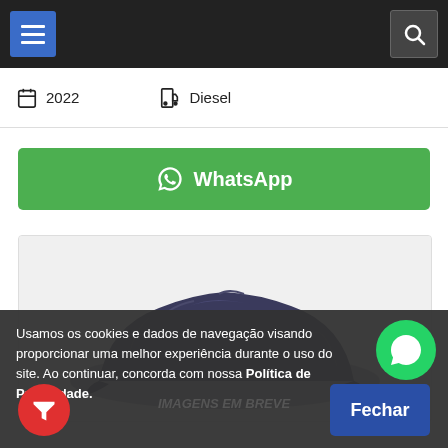Navigation bar with hamburger menu and search icon
2022  Diesel
WhatsApp
[Figure (photo): Car covered with dark blue cloth/drape on a light background, with text IMAGENS EM BREVE and Borba Cars logo overlaid]
Usamos os cookies e dados de navegação visando proporcionar uma melhor experiência durante o uso do site. Ao continuar, concorda com nossa Política de Privacidade.
Fechar